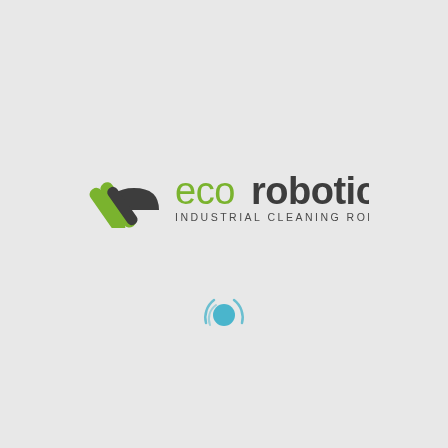[Figure (logo): EcoRobotics logo: stylized green and dark grey robot/mountain icon on left, text 'eco' in green and 'robotics' in dark grey bold, subtitle 'INDUSTRIAL CLEANING ROBOTICS' in dark grey caps below]
[Figure (other): Loading spinner icon: teal/blue circle with concentric arc lines, suggesting a loading or scanning animation]